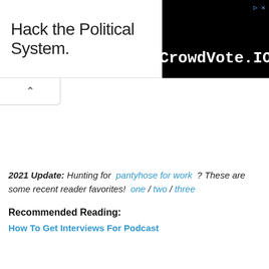[Figure (other): Advertisement banner: 'Hack the Political System.' text on left with CrowdVote.IO logo on black background on right]
2021 Update: Hunting for pantyhose for work ? These are some recent reader favorites! one / two / three
Recommended Reading:
How To Get Interviews For Podcast